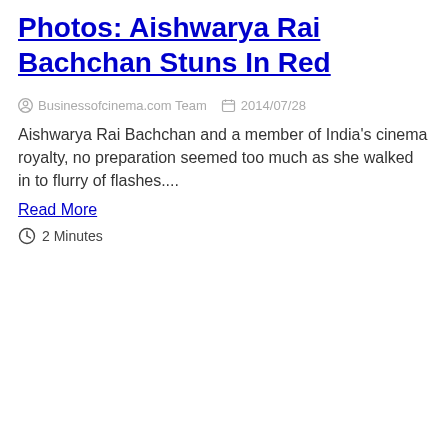Photos: Aishwarya Rai Bachchan Stuns In Red
⊙ Businessofcinema.com Team  🗓 2014/07/28
Aishwarya Rai Bachchan and a member of India's cinema royalty, no preparation seemed too much as she walked in to flurry of flashes....
Read More
⏱ 2 Minutes